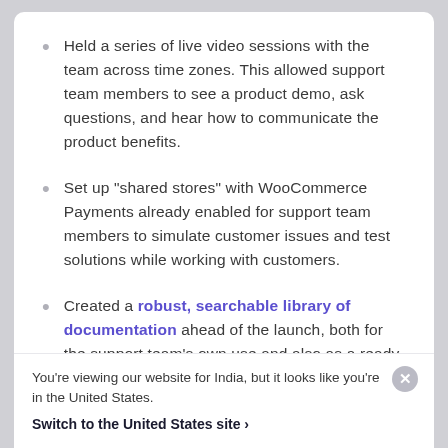Held a series of live video sessions with the team across time zones. This allowed support team members to see a product demo, ask questions, and hear how to communicate the product benefits.
Set up “shared stores” with WooCommerce Payments already enabled for support team members to simulate customer issues and test solutions while working with customers.
Created a robust, searchable library of documentation ahead of the launch, both for the support team’s own use and also as a ready, sharable set of resources to aid in customer interactions.
You’re viewing our website for India, but it looks like you’re in the United States.
Switch to the United States site ›